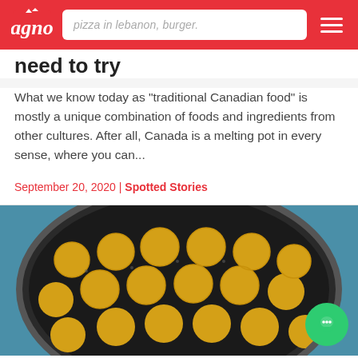agno — pizza in lebanon, burger.
need to try
What we know today as "traditional Canadian food" is mostly a unique combination of foods and ingredients from other cultures. After all, Canada is a melting pot in every sense, where you can...
September 20, 2020 | Spotted Stories
[Figure (photo): Falafel balls frying in a pan with oil, golden-yellow color, top-down view]
RECOMMENDED
My Favorite Falafel (No Garlic, No